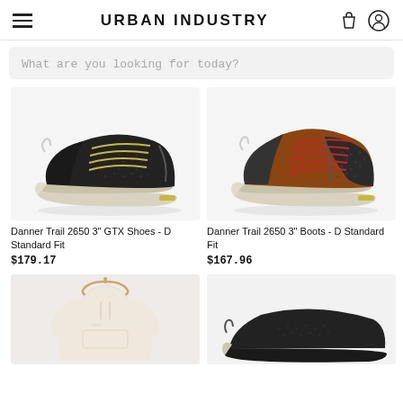URBAN INDUSTRY
What are you looking for today?
[Figure (photo): Black Danner Trail 2650 3-inch GTX shoe with olive/yellow laces on white background]
Danner Trail 2650 3" GTX Shoes - D Standard Fit
$179.17
[Figure (photo): Brown/rust Danner Trail 2650 3-inch boot with red laces on white background]
Danner Trail 2650 3" Boots - D Standard Fit
$167.96
[Figure (photo): Cream/beige hoodie on wooden hanger against light background]
[Figure (photo): Black shoe/boot partially visible at bottom right]